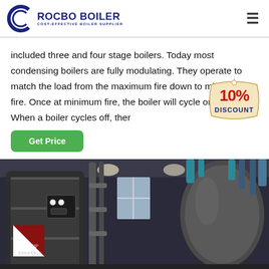ROCBO BOILER — COST-EFFECTIVE BOILER SUPPLIER
included three and four stage boilers. Today most condensing boilers are fully modulating. They operate to match the load from the maximum fire down to minimum fire. Once at minimum fire, the boiler will cycle on and off. When a boiler cycles off, ther
[Figure (infographic): 10% DISCOUNT badge/label in red and yellow]
[Figure (photo): Industrial boiler room with large cylindrical boilers, pipes, and factory space. Chinese text visible on equipment.]